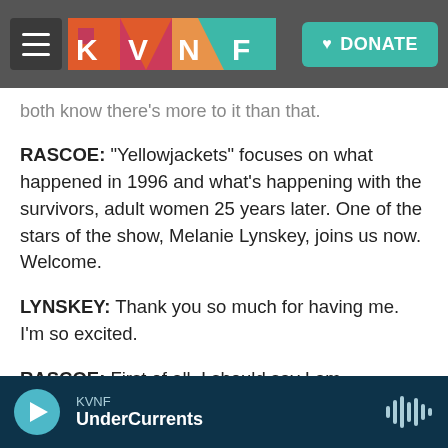KVNF — DONATE
both know there's more to it than that.
RASCOE: "Yellowjackets" focuses on what happened in 1996 and what's happening with the survivors, adult women 25 years later. One of the stars of the show, Melanie Lynskey, joins us now. Welcome.
LYNSKEY: Thank you so much for having me. I'm so excited.
RASCOE: First of all, I should say I am obsessed, really obsessed, with this show. The characters don't fit into neat little boxes. So tell us about your
KVNF UnderCurrents